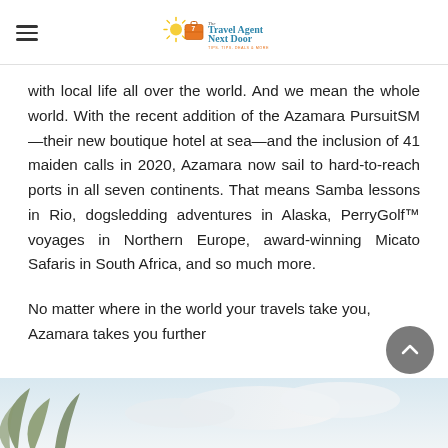The Travel Agent Next Door
with local life all over the world. And we mean the whole world. With the recent addition of the Azamara PursuitSM—their new boutique hotel at sea—and the inclusion of 41 maiden calls in 2020, Azamara now sail to hard-to-reach ports in all seven continents. That means Samba lessons in Rio, dogsledding adventures in Alaska, PerryGolf™ voyages in Northern Europe, award-winning Micato Safaris in South Africa, and so much more.
No matter where in the world your travels take you, Azamara takes you further
[Figure (photo): Partial photo at the bottom of the page showing palm fronds and a bright sky, likely a tropical destination.]